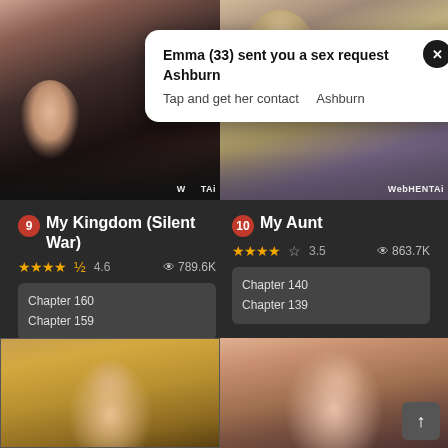[Figure (illustration): Two anime/manga style cropped illustration panels side by side forming a top banner. Left panel shows a dark-toned figure with watermark text. Right panel shows a figure in green/purple tones with WebHENTAi watermark.]
Emma (33) sent you a sex request Ashburn
Tap and get her contact    Ashburn
9  My Kingdom (Silent War)
★★★★½ 4.6   👁 789.6K
Chapter 160
Chapter 159
10  My Aunt
★★★★½ 3.5   👁 863.7K
Chapter 140
Chapter 139
[Figure (illustration): Two anime/manga style cropped illustration panels side by side forming a bottom banner. Left shows a girl with short dark hair in yellow tones. Right shows a girl with long brown hair.]